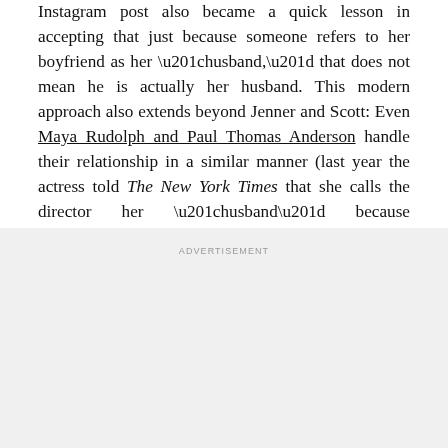Instagram post also became a quick lesson in accepting that just because someone refers to her boyfriend as her “husband,” that does not mean he is actually her husband. This modern approach also extends beyond Jenner and Scott: Even Maya Rudolph and Paul Thomas Anderson handle their relationship in a similar manner (last year the actress told The New York Times that she calls the director her “husband” because “people know what that means”).
ADVERTISEMENT